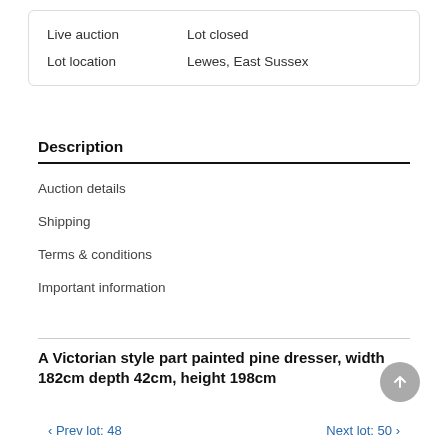| Live auction | Lot closed |
| Lot location | Lewes, East Sussex |
Description
Auction details
Shipping
Terms & conditions
Important information
A Victorian style part painted pine dresser, width 182cm depth 42cm, height 198cm
‹ Prev lot: 48    Next lot: 50 ›